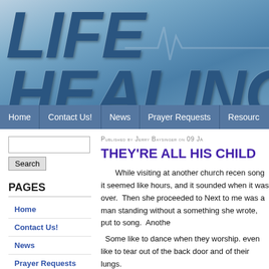[Figure (logo): Life Healing banner logo with large italic blue text 'LIFE HEALING' on a blue sky/water gradient background with an ECG heartbeat line graphic]
Home | Contact Us! | News | Prayer Requests | Resources
Search
PAGES
Home
Contact Us!
News
Prayer Requests
Resources
Published by Jerry Baysinger on 09 Ja
THEY'RE ALL HIS CHILD
While visiting at another church recen song it seemed like hours, and it sounded when it was over.  Then she proceeded to Next to me was a man standing without a something she wrote, put to song.  Anothe  Some like to dance when they worship. even like to tear out of the back door and of their lungs.
    Some like to get down on their knees t